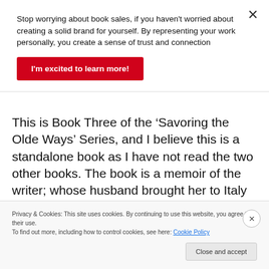Stop worrying about book sales, if you haven't worried about creating a solid brand for yourself. By representing your work personally, you create a sense of trust and connection
I'm excited to learn more!
This is Book Three of the ‘Savoring the Olde Ways’ Series, and I believe this is a standalone book as I have not read the two other books. The book is a memoir of the writer; whose husband brought her to Italy after her retirement in 1998.
Privacy & Cookies: This site uses cookies. By continuing to use this website, you agree to their use.
To find out more, including how to control cookies, see here: Cookie Policy
Close and accept